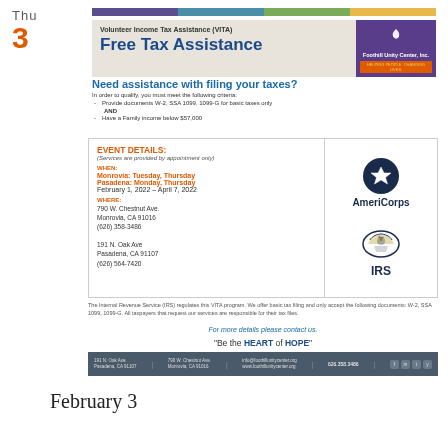Thu 3
[Figure (infographic): Volunteer Income Tax Assistance (VITA) / Free Tax Assistance flyer with Foothill Unity Center Inc. logo, color bar, AmeriCorps and IRS logos, event details]
Need assistance with filing your taxes?
In order to qualify, you must meet the following criteria:
Provide documents W-2, SSA 1099, 1099-G for basic taxes only AND
Have a Family income below $57,000
EVENT DETAILS: (Services are provided by appointment only)
WHEN: Monrovia: Tuesday, Thursday Pasadena: Monday, Thursday February 1, 2022 – April 7, 2022
WHERE: 790 W. Chestnut Ave. Monrovia, CA 91016 (626) 358-3486
191 N. Oak Ave Pasadena, CA 91107 (626) 564-7420
The Internal Revenue Service (IRS) regulates this VITA program. We offer basic tax filing and only accept the following documents: W-2, SSA 1099, 1099-G. All taxpayers that request our services are responsible for their tax files.
For more details please contact us.
"Be the HEART of HOPE"
191 N. Oak Ave. Pasadena, CA 91107 | 790 W. Chestnut Ave. Monrovia, CA 91016 | info@foothillunitycenter.org www.foothillunitycenter.org | 626.358.3486
February 3